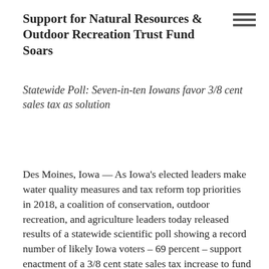Support for Natural Resources & Outdoor Recreation Trust Fund Soars
Statewide Poll: Seven-in-ten Iowans favor 3/8 cent sales tax as solution
Des Moines, Iowa — As Iowa's elected leaders make water quality measures and tax reform top priorities in 2018, a coalition of conservation, outdoor recreation, and agriculture leaders today released results of a statewide scientific poll showing a record number of likely Iowa voters – 69 percent – support enactment of a 3/8 cent state sales tax increase to fund those priorities.